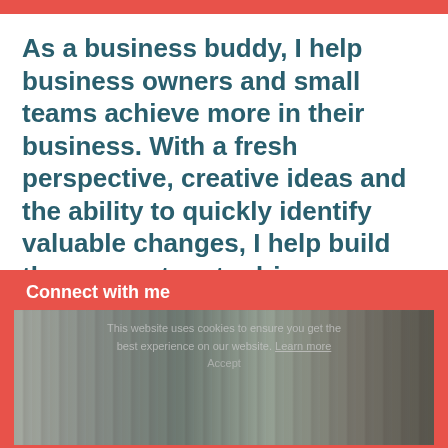As a business buddy, I help business owners and small teams achieve more in their business. With a fresh perspective, creative ideas and the ability to quickly identify valuable changes, I help build the momentum to drive a business forward.
Connect with me
[Figure (photo): Blurred photograph of a room with bookshelves filled with books and a framed portrait painting on the right wall, with a lamp visible in the foreground.]